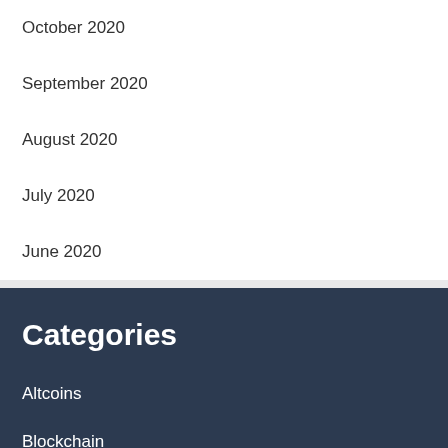October 2020
September 2020
August 2020
July 2020
June 2020
Categories
Altcoins
Blockchain
Cryptocurrency
Ethereum News